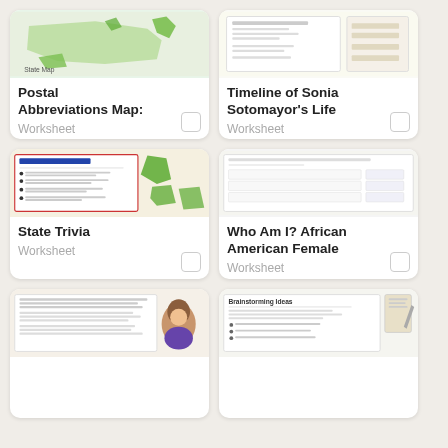[Figure (illustration): Thumbnail of US Postal Abbreviations Map worksheet showing a map of the US with green state shapes]
Postal Abbreviations Map:
Worksheet
[Figure (illustration): Thumbnail of Timeline of Sonia Sotomayor's Life worksheet showing a document with timeline text]
Timeline of Sonia Sotomayor's Life
Worksheet
[Figure (illustration): Thumbnail of Extreme State Facts worksheet showing bullet points and green state silhouettes]
State Trivia
Worksheet
[Figure (illustration): Thumbnail of Who Am I? African American Female worksheet showing a document with lined sections]
Who Am I? African American Female
Worksheet
[Figure (illustration): Thumbnail of a reading worksheet with text and an illustrated female character]
[Figure (illustration): Thumbnail of Brainstorming Ideas worksheet with bullet list]